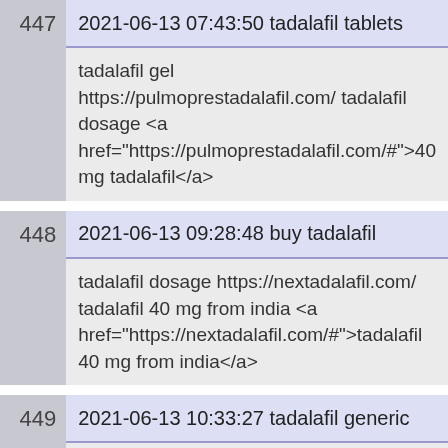| # | Timestamp / Title | Body |
| --- | --- | --- |
| 447 | 2021-06-13 07:43:50 tadalafil tablets | tadalafil gel https://pulmoprestadalafil.com/ tadalafil dosage <a href="https://pulmoprestadalafil.com/#">40 mg tadalafil</a> |
| 448 | 2021-06-13 09:28:48 buy tadalafil | tadalafil dosage https://nextadalafil.com/ tadalafil 40 mg from india <a href="https://nextadalafil.com/#">tadalafil 40 mg from india</a> |
| 449 | 2021-06-13 10:33:27 tadalafil generic | tadalafil generic https://extratadalafill.com/ tadalafil... |